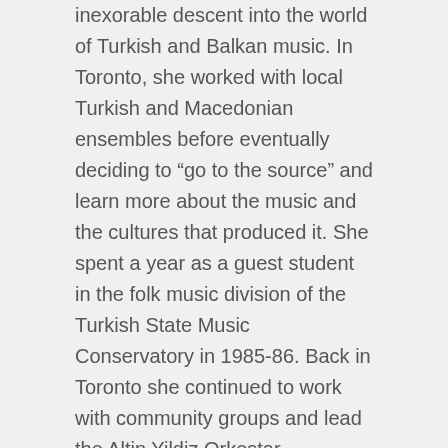inexorable descent into the world of Turkish and Balkan music. In Toronto, she worked with local Turkish and Macedonian ensembles before eventually deciding to “go to the source” and learn more about the music and the cultures that produced it. She spent a year as a guest student in the folk music division of the Turkish State Music Conservatory in 1985-86. Back in Toronto she continued to work with community groups and lead the Altin Yildiz Orkestar – arguably Toronto’s first Balkan-Gypsy Band. In 1995 she returned to Istanbul with the intent to sojourn for “six months to a year”. That stay lasted 5 years. While she loves all types of Turkish and Balkan music, she was drawn to the points where that music overlaps in Turkish